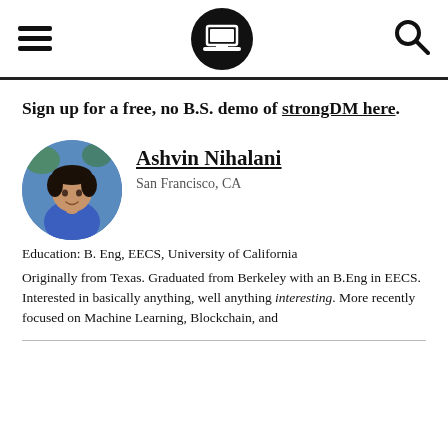Navigation bar with hamburger menu, laptop logo, and search icon
Sign up for a free, no B.S. demo of strongDM here.
[Figure (photo): Circular profile photo of Ashvin Nihalani]
Ashvin Nihalani
San Francisco, CA
Education: B. Eng, EECS, University of California
Originally from Texas. Graduated from Berkeley with an B.Eng in EECS. Interested in basically anything, well anything interesting. More recently focused on Machine Learning, Blockchain, and